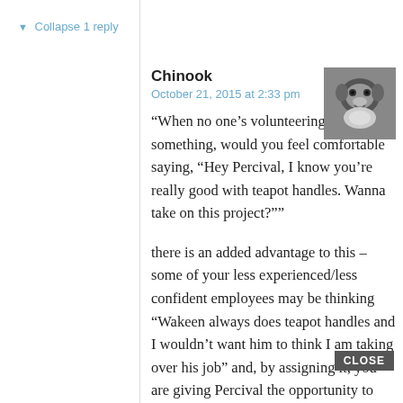▼ Collapse 1 reply
Chinook
October 21, 2015 at 2:33 pm
[Figure (photo): Avatar photo of a monkey/primate face, black and white]
“When no one’s volunteering for something, would you feel comfortable saying, “Hey Percival, I know you’re really good with teapot handles. Wanna take on this project?””
there is an added advantage to this – some of your less experienced/less confident employees may be thinking “Wakeen always does teapot handles and I wouldn’t want him to think I am taking over his job” and, by assigning it, you are giving Percival the opportunity to step up.
Again, I work in a volunteer context, but I have been floored by the number of women who will